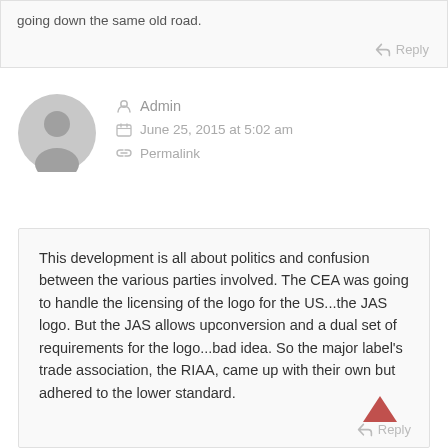going down the same old road.
Reply
Admin
June 25, 2015 at 5:02 am
Permalink
This development is all about politics and confusion between the various parties involved. The CEA was going to handle the licensing of the logo for the US...the JAS logo. But the JAS allows upconversion and a dual set of requirements for the logo...bad idea. So the major label's trade association, the RIAA, came up with their own but adhered to the lower standard.
Reply